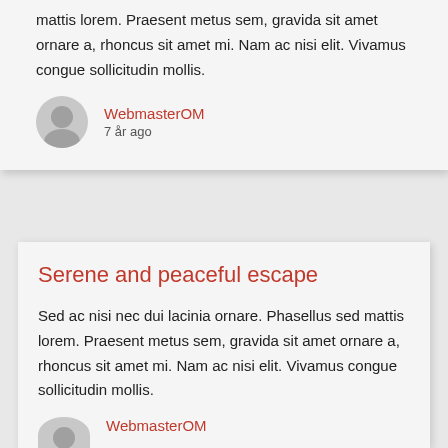mattis lorem. Praesent metus sem, gravida sit amet ornare a, rhoncus sit amet mi. Nam ac nisi elit. Vivamus congue sollicitudin mollis.
WebmasterOM
7 år ago
Serene and peaceful escape
Sed ac nisi nec dui lacinia ornare. Phasellus sed mattis lorem. Praesent metus sem, gravida sit amet ornare a, rhoncus sit amet mi. Nam ac nisi elit. Vivamus congue sollicitudin mollis.
WebmasterOM